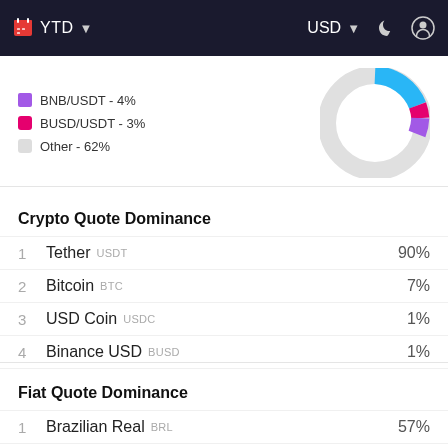YTD  USD
[Figure (donut-chart): Quote currency distribution]
Crypto Quote Dominance
1  Tether  USDT  90%
2  Bitcoin  BTC  7%
3  USD Coin  USDC  1%
4  Binance USD  BUSD  1%
5  Ethereum  ETH  1%
Fiat Quote Dominance
1  Brazilian Real  BRL  57%
2  Turkish Lira  TRY  43%